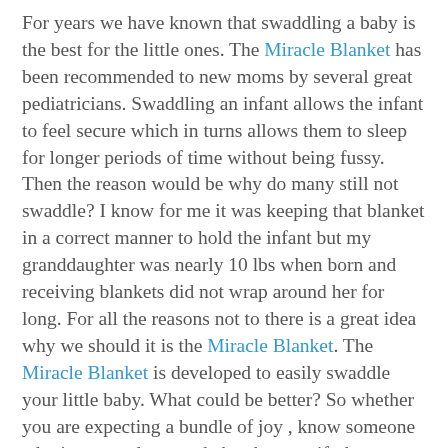For years we have known that swaddling a baby is the best for the little ones. The Miracle Blanket has been recommended to new moms by several great pediatricians. Swaddling an infant allows the infant to feel secure which in turns allows them to sleep for longer periods of time without being fussy. Then the reason would be why do many still not swaddle? I know for me it was keeping that blanket in a correct manner to hold the infant but my granddaughter was nearly 10 lbs when born and receiving blankets did not wrap around her for long. For all the reasons not to there is a great idea why we should it is the Miracle Blanket. The Miracle Blanket is developed to easily swaddle your little baby. What could be better? So whether you are expecting a bundle of joy , know someone who is, or need a great baby shower gift the Miracle Blanket is a wonderful thing to have.
Buy: There are many stores located in the U.S. which carry the Miracle Blanket and you can use the great store finder on their website here to locate a store near you. You can also order the Miracle Blanket online from